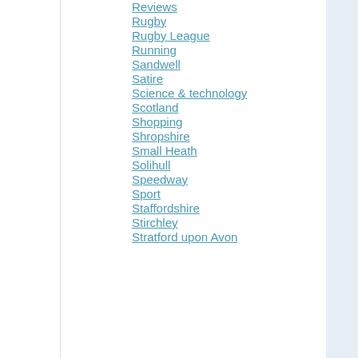Reviews
Rugby
Rugby League
Running
Sandwell
Satire
Science & technology
Scotland
Shopping
Shropshire
Small Heath
Solihull
Speedway
Sport
Staffordshire
Stirchley
Stratford upon Avon